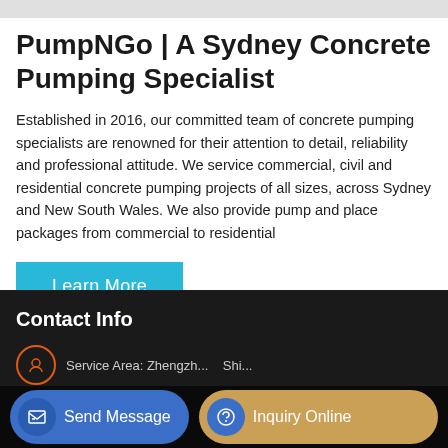PumpNGo | A Sydney Concrete Pumping Specialist
Established in 2016, our committed team of concrete pumping specialists are renowned for their attention to detail, reliability and professional attitude. We service commercial, civil and residential concrete pumping projects of all sizes, across Sydney and New South Wales. We also provide pump and place packages from commercial to residential
Learn More
Contact Info
Send Message
Inquiry Online